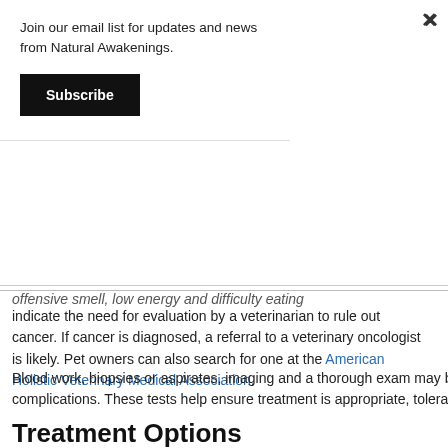Join our email list for updates and news from Natural Awakenings.
Subscribe
offensive smell, low energy and difficulty eating indicate the need for evaluation by a veterinarian to rule out cancer. If cancer is diagnosed, a referral to a veterinary oncologist is likely. Pet owners can also search for one at the American Holistic Veterinary Medical Association.
Blood work, biopsies or aspirates, imaging and a thorough exam may be needed to determine the extent of the cancer and any possible complications. These tests help ensure treatment is appropriate, tolerable and humane.
Treatment Options